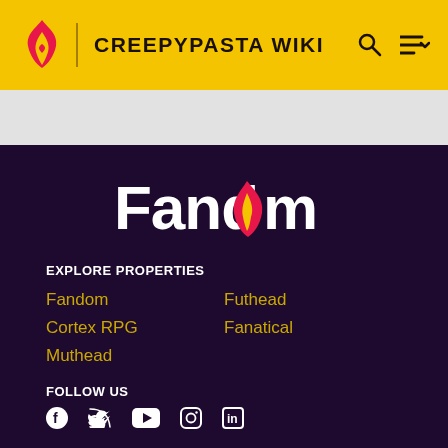CREEPYPASTA WIKI
[Figure (logo): Fandom logo with flame icon and heart, white text on dark purple background]
EXPLORE PROPERTIES
Fandom
Futhead
Cortex RPG
Fanatical
Muthead
FOLLOW US